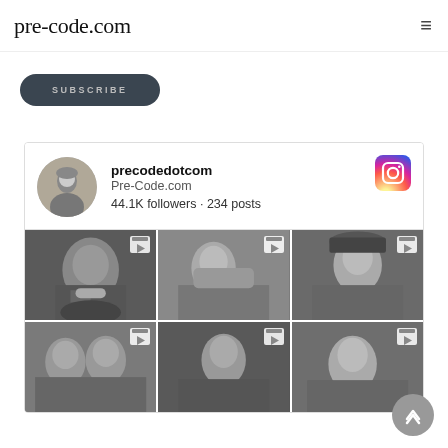pre-code.com
[Figure (screenshot): Dark rounded SUBSCRIBE button]
[Figure (screenshot): Instagram widget showing precodedotcom profile with 44.1K followers and 234 posts, with a 2x3 grid of black-and-white classic film video thumbnails]